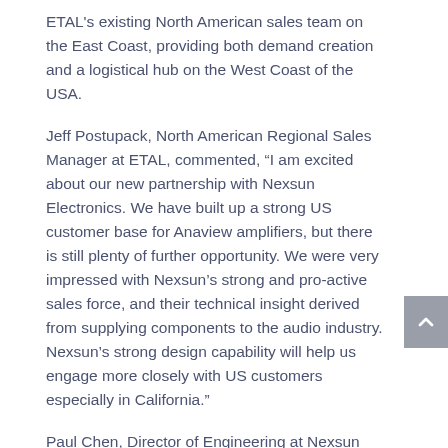ETAL's existing North American sales team on the East Coast, providing both demand creation and a logistical hub on the West Coast of the USA.
Jeff Postupack, North American Regional Sales Manager at ETAL, commented, “I am excited about our new partnership with Nexsun Electronics. We have built up a strong US customer base for Anaview amplifiers, but there is still plenty of further opportunity. We were very impressed with Nexsun’s strong and pro-active sales force, and their technical insight derived from supplying components to the audio industry. Nexsun’s strong design capability will help us engage more closely with US customers especially in California.”
Paul Chen, Director of Engineering at Nexsun Electronics Inc. said, “ETAL Anaview modules have an outstanding reputation in the market for audio design